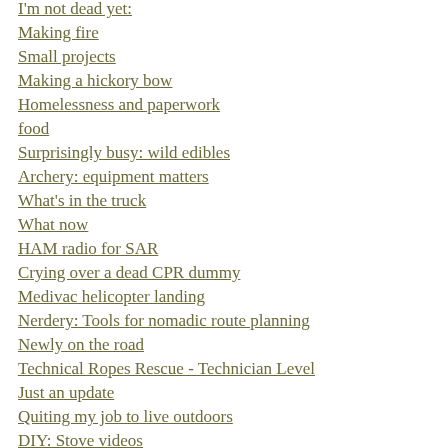I'm not dead yet:
Making fire
Small projects
Making a hickory bow
Homelessness and paperwork
food
Surprisingly busy: wild edibles
Archery: equipment matters
What's in the truck
What now
HAM radio for SAR
Crying over a dead CPR dummy
Medivac helicopter landing
Nerdery: Tools for nomadic route planning
Newly on the road
Technical Ropes Rescue - Technician Level
Just an update
Quiting my job to live outdoors
DIY: Stove videos
Truck platform: take 3